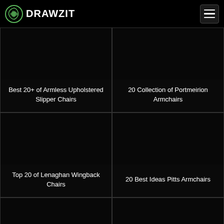DRAWZIT
[Figure (screenshot): Dark thumbnail image for article about Armless Upholstered Slipper Chairs]
Best 20+ of Armless Upholstered Slipper Chairs
[Figure (screenshot): Dark thumbnail image for article about Portmeirion Armchairs]
20 Collection of Portmeirion Armchairs
[Figure (screenshot): Dark thumbnail image for article about Lenaghan Wingback Chairs]
Top 20 of Lenaghan Wingback Chairs
[Figure (screenshot): Dark thumbnail image for article about Pitts Armchairs]
20 Best Ideas Pitts Armchairs
[Figure (screenshot): Dark thumbnail image, bottom left card, partially visible]
[Figure (screenshot): Dark thumbnail image, bottom right card, partially visible]